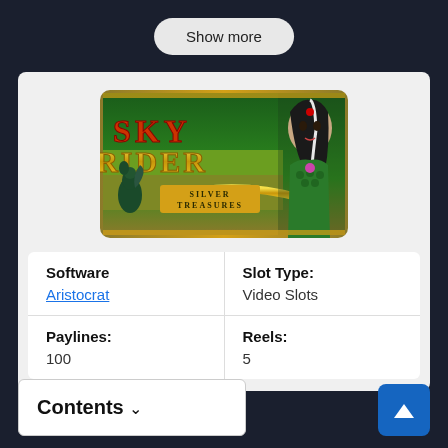Show more
[Figure (illustration): Sky Rider Silver Treasures slot game promotional image featuring a woman in green costume and a dragon, with gold text reading SKY RIDER SILVER TREASURES on a green background]
| Software | Slot Type: |
| Aristocrat | Video Slots |
| Paylines: | Reels: |
| 100 | 5 |
Contents ∨
▲